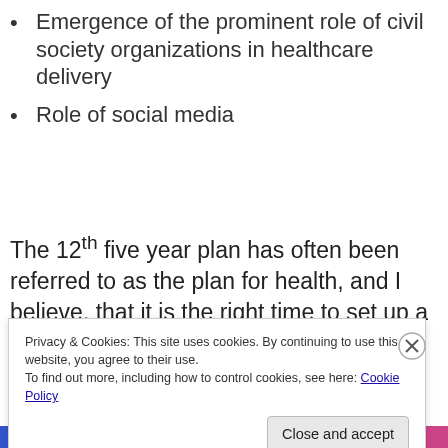Emergence of the prominent role of civil society organizations in healthcare delivery
Role of social media
The 12th five year plan has often been referred to as the plan for health, and I believe, that it is the right time to set up a committee to draft
Privacy & Cookies: This site uses cookies. By continuing to use this website, you agree to their use.
To find out more, including how to control cookies, see here: Cookie Policy